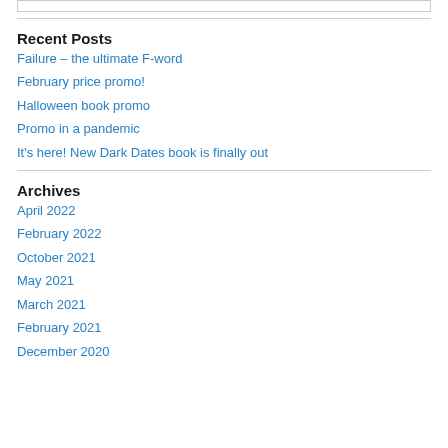Recent Posts
Failure – the ultimate F-word
February price promo!
Halloween book promo
Promo in a pandemic
It's here! New Dark Dates book is finally out
Archives
April 2022
February 2022
October 2021
May 2021
March 2021
February 2021
December 2020